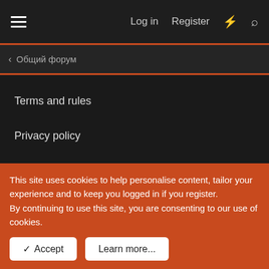Log in  Register
Общий форум
Terms and rules
Privacy policy
Help
Home
[Figure (other): RSS feed icon]
Forum Links
This site uses cookies to help personalise content, tailor your experience and to keep you logged in if you register.
By continuing to use this site, you are consenting to our use of cookies.